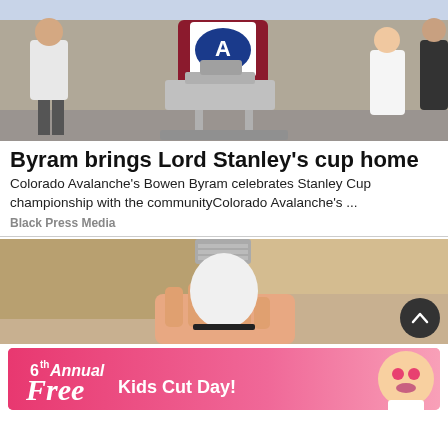[Figure (photo): Colorado Avalanche player Bowen Byram wearing team jersey and walking with Stanley Cup trophy amid crowd of people]
Byram brings Lord Stanley's cup home
Colorado Avalanche's Bowen Byram celebrates Stanley Cup championship with the communityColorado Avalanche's ...
Black Press Media
[Figure (photo): A hand holding a white LED light bulb against a ceiling background]
[Figure (photo): Advertisement banner: 6th Annual Free Kids Cut Day! with child wearing heart glasses]